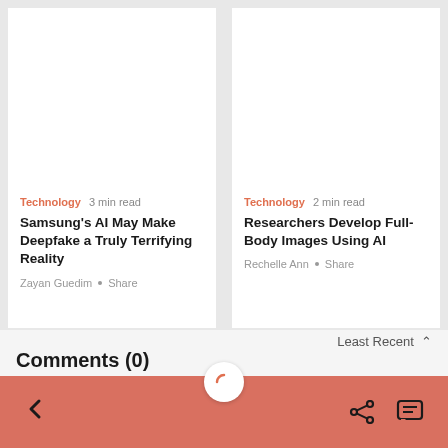[Figure (other): Article card: Samsung's AI May Make Deepfake a Truly Terrifying Reality. Category: Technology. 3 min read. Author: Zayan Guedim.]
[Figure (other): Article card: Researchers Develop Full-Body Images Using AI. Category: Technology. 2 min read. Author: Rechelle Ann.]
Comments (0)
Least Recent
Back navigation, share and comment icons on salmon/coral background bar